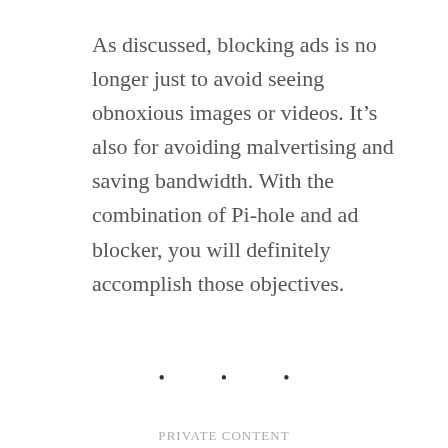As discussed, blocking ads is no longer just to avoid seeing obnoxious images or videos. It's also for avoiding malvertising and saving bandwidth. With the combination of Pi-hole and ad blocker, you will definitely accomplish those objectives.
• • •
PRIVATE CONTENT